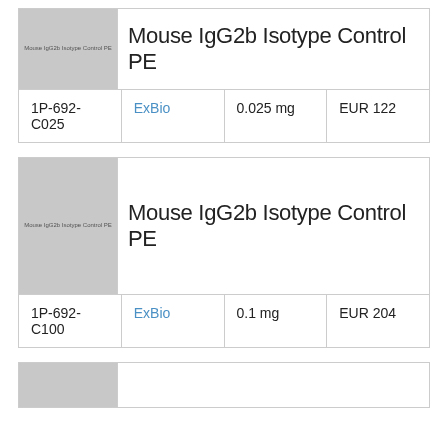| ID | Brand | Amount | Price |
| --- | --- | --- | --- |
| 1P-692-C025 | ExBio | 0.025 mg | EUR 122 |
[Figure (photo): Product thumbnail placeholder showing 'Mouse IgG2b Isotype Control PE' text on grey background]
Mouse IgG2b Isotype Control PE
| ID | Brand | Amount | Price |
| --- | --- | --- | --- |
| 1P-692-C100 | ExBio | 0.1 mg | EUR 204 |
[Figure (photo): Product thumbnail placeholder showing 'Mouse IgG2b Isotype Control PE' text on grey background]
Mouse IgG2b Isotype Control PE